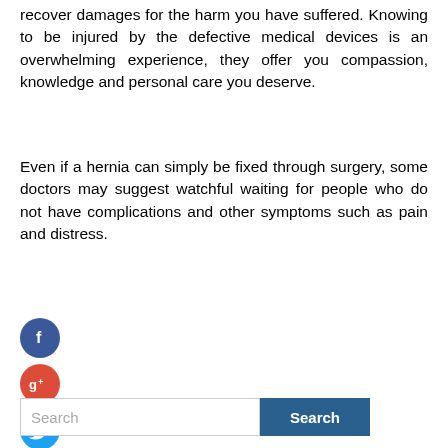recover damages for the harm you have suffered. Knowing to be injured by the defective medical devices is an overwhelming experience, they offer you compassion, knowledge and personal care you deserve.
Even if a hernia can simply be fixed through surgery, some doctors may suggest watchful waiting for people who do not have complications and other symptoms such as pain and distress.
[Figure (infographic): Social media share buttons: Facebook (blue circle with f), Google+ (red circle with g+), Twitter (blue circle with bird icon), Add/Plus (dark circle with + symbol)]
[Figure (other): Search bar with text input placeholder 'Search' and a blue 'Search' button]